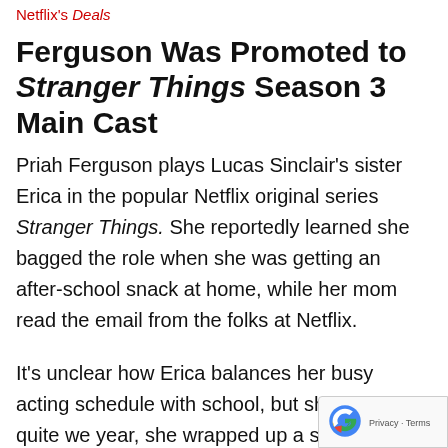Netflix's Deals
Ferguson Was Promoted to Stranger Things Season 3 Main Cast
Priah Ferguson plays Lucas Sinclair's sister Erica in the popular Netflix original series Stranger Things. She reportedly learned she bagged the role when she was getting an after-school snack at home, while her mom read the email from the folks at Netflix.
It's unclear how Erica balances her busy acting schedule with school, but she does it quite we year, she wrapped up a school year on the hor